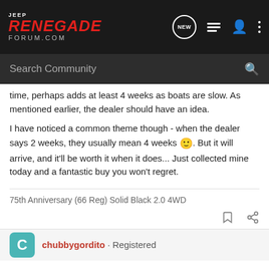Jeep Renegade Forum.com
time, perhaps adds at least 4 weeks as boats are slow. As mentioned earlier, the dealer should have an idea.
I have noticed a common theme though - when the dealer says 2 weeks, they usually mean 4 weeks 🙂. But it will arrive, and it'll be worth it when it does... Just collected mine today and a fantastic buy you won't regret.
75th Anniversary (66 Reg) Solid Black 2.0 4WD
chubbygordito · Registered